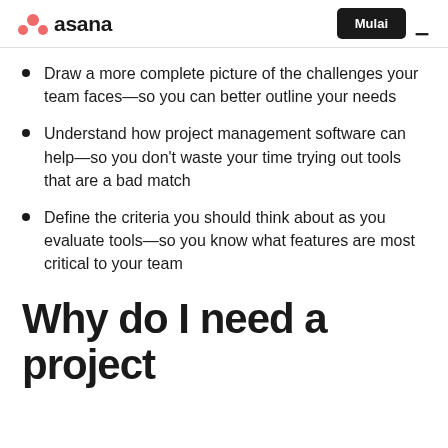asana | Mulai ≡
Draw a more complete picture of the challenges your team faces—so you can better outline your needs
Understand how project management software can help—so you don't waste your time trying out tools that are a bad match
Define the criteria you should think about as you evaluate tools—so you know what features are most critical to your team
Why do I need a project